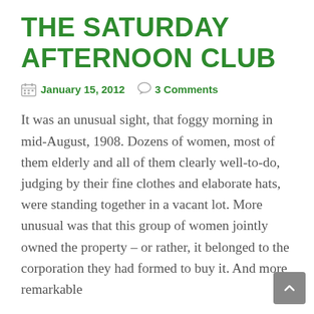THE SATURDAY AFTERNOON CLUB
January 15, 2012   3 Comments
It was an unusual sight, that foggy morning in mid-August, 1908. Dozens of women, most of them elderly and all of them clearly well-to-do, judging by their fine clothes and elaborate hats, were standing together in a vacant lot. More unusual was that this group of women jointly owned the property – or rather, it belonged to the corporation they had formed to buy it. And more remarkable